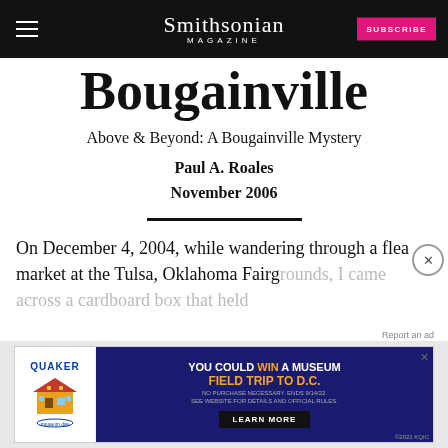Smithsonian MAGAZINE | SUBSCRIBE
Bougainville Mystery
Above & Beyond: A Bougainville Mystery
Paul A. Roales
November 2006
On December 4, 2004, while wandering through a flea market at the Tulsa, Oklahoma Fairgrounds, I came across a cardboard box that held
[Figure (other): Advertisement: Quaker / Museum Day promotion - You could win a museum field trip to D.C. Learn More button. No purchase necessary, ends 9/14/22.]